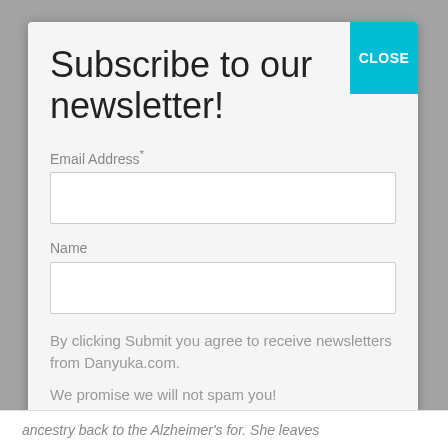Subscribe to our newsletter!
Email Address*
Name
By clicking Submit you agree to receive newsletters from Danyuka.com.
We promise we will not spam you!
Subscribe
ancestry back to the Alzheimer's for. She leaves